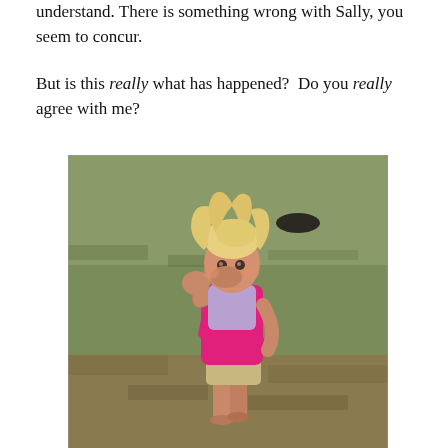understand. There is something wrong with Sally, you seem to concur.
But is this really what has happened?  Do you really agree with me?
[Figure (photo): A young blonde toddler girl in a pink dress and khaki shorts standing barefoot on a grassy field, covering her mouth/nose with her hand, looking at the camera. A dark object is visible in the background grass.]